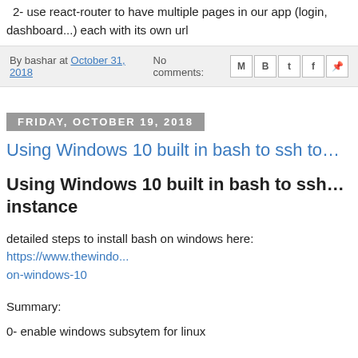2- use react-router to have multiple pages in our app (login, dashboard...) each with its own url
By bashar at October 31, 2018   No comments:
Friday, October 19, 2018
Using Windows 10 built in bash to ssh to...
Using Windows 10 built in bash to ssh to... instance
detailed steps to install bash on windows here: https://www.thewindows.../on-windows-10
Summary:
0- enable windows subsytem for linux